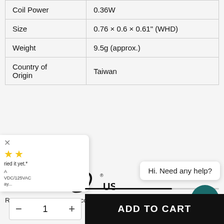| Coil Power | 0.36W |
| Size | 0.76 × 0.6 × 0.61" (WHD) |
| Weight | 9.5g (approx.) |
| Country of Origin | Taiwan |
[Figure (logo): RoHS and UL cURus certification logos]
RoHS Compliant • UL Recognized Component